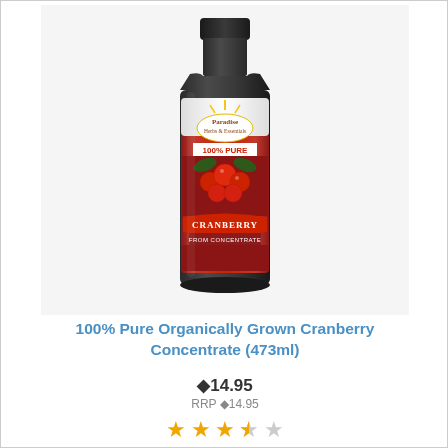[Figure (photo): A dark glass bottle of 100% Pure Cranberry Concentrate with a colorful label showing a sun, cranberries, and the brand name. Label reads '100% PURE CRANBERRY CONCENTRATE'.]
100% Pure Organically Grown Cranberry Concentrate (473ml)
◆14.95
RRP ◆14.95
[Figure (other): Star rating: 3.5 out of 5 stars (3 full stars, 1 half star, 1 empty star)]